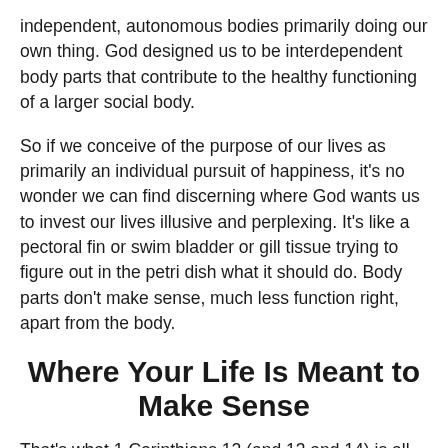independent, autonomous bodies primarily doing our own thing. God designed us to be interdependent body parts that contribute to the healthy functioning of a larger social body.
So if we conceive of the purpose of our lives as primarily an individual pursuit of happiness, it's no wonder we can find discerning where God wants us to invest our lives illusive and perplexing. It's like a pectoral fin or swim bladder or gill tissue trying to figure out in the petri dish what it should do. Body parts don't make sense, much less function right, apart from the body.
Where Your Life Is Meant to Make Sense
That's what 1 Corinthians 12 (and 13 and 14) is all about. Paul writes,